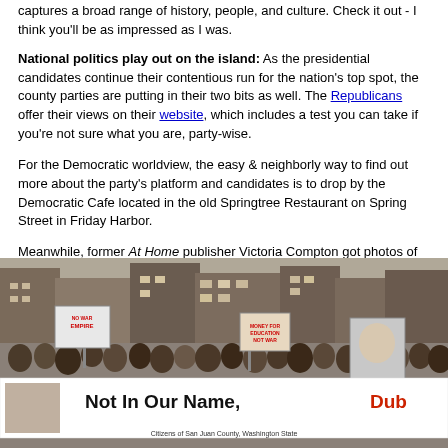captures a broad range of history, people, and culture. Check it out - I think you'll be as impressed as I was.
National politics play out on the island: As the presidential candidates continue their contentious run for the nation's top spot, the county parties are putting in their two bits as well. The Republicans offer their views on their website, which includes a test you can take if you're not sure what you are, party-wise.
For the Democratic worldview, the easy & neighborly way to find out more about the party's platform and candidates is to drop by the Democratic Cafe located in the old Springtree Restaurant on Spring Street in Friday Harbor.
Meanwhile, former At Home publisher Victoria Compton got photos of the banner below into several national news mags as she orchestrated part of the protest at the Republican National Convention earlier this month. Currently in school in New Jersey with about a year to go, Victoria has kept contact with friends here on the island and explains more about what the banner is talking about.
[Figure (photo): Protest march photo showing a large crowd carrying signs including 'No War Empire' and other protest signs, with a large banner reading 'Not In Our Name, Dub...' and text 'Citizens of San Juan County, Washington State' at the bottom.]